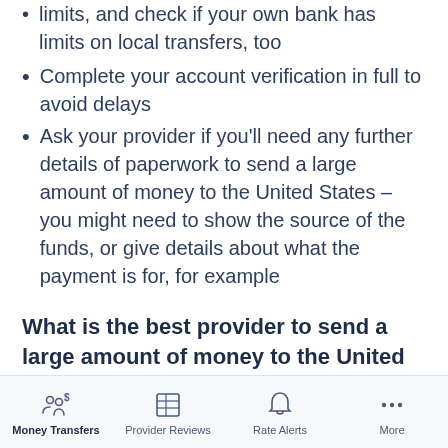limits, and check if your own bank has limits on local transfers, too
Complete your account verification in full to avoid delays
Ask your provider if you'll need any further details of paperwork to send a large amount of money to the United States – you might need to show the source of the funds, or give details about what the payment is for, for example
What is the best provider to send a large amount of money to the United States?
If you're sending a large amount of money to the
Money Transfers | Provider Reviews | Rate Alerts | More